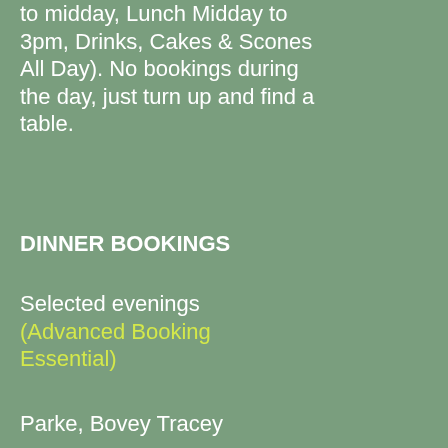to midday, Lunch Midday to 3pm, Drinks, Cakes & Scones All Day). No bookings during the day, just turn up and find a table.
Last Name *
DINNER BOOKINGS
Selected evenings (Advanced Booking Essential)
Parke, Bovey Tracey